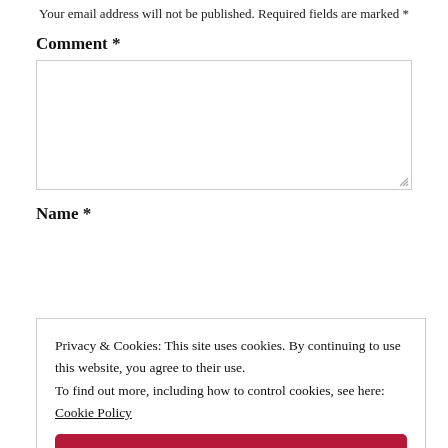Your email address will not be published. Required fields are marked *
Comment *
[comment textarea]
Name *
Privacy & Cookies: This site uses cookies. By continuing to use this website, you agree to their use. To find out more, including how to control cookies, see here: Cookie Policy
Close and accept
Website